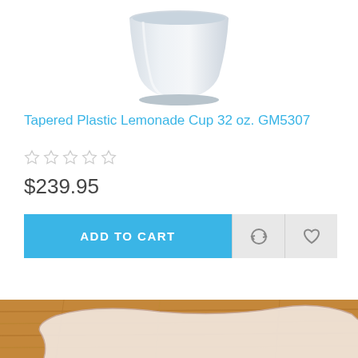[Figure (photo): Partial view of a white tapered plastic lemonade cup against white background, cropped at top]
Tapered Plastic Lemonade Cup 32 oz. GM5307
☆☆☆☆☆ (star rating, no stars filled)
$239.95
ADD TO CART
[Figure (photo): Partial view of a white irregularly shaped paper or cardboard piece on a wooden surface, cropped at bottom]